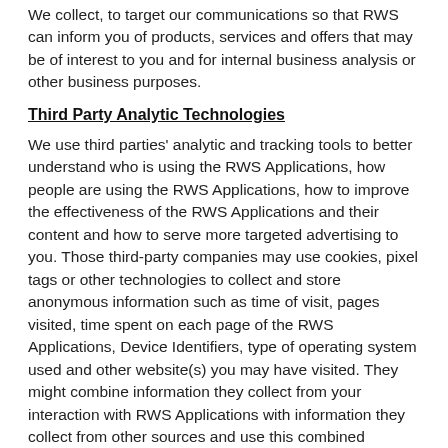We collect, to target our communications so that RWS can inform you of products, services and offers that may be of interest to you and for internal business analysis or other business purposes.
Third Party Analytic Technologies
We use third parties' analytic and tracking tools to better understand who is using the RWS Applications, how people are using the RWS Applications, how to improve the effectiveness of the RWS Applications and their content and how to serve more targeted advertising to you. Those third-party companies may use cookies, pixel tags or other technologies to collect and store anonymous information such as time of visit, pages visited, time spent on each page of the RWS Applications, Device Identifiers, type of operating system used and other website(s) you may have visited. They might combine information they collect from your interaction with RWS Applications with information they collect from other sources and use this combined information to send you certain marketing or other communications. We do not have access to, nor control over, third parties' use of cookies or other tracking technologies.